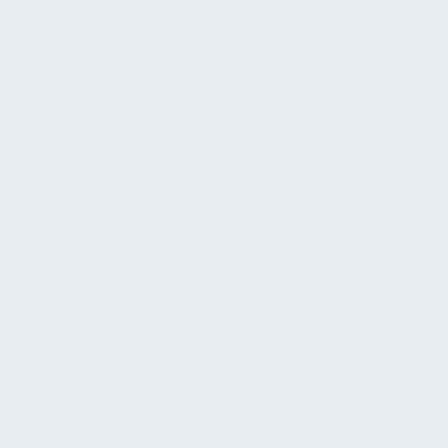- No seminar ===
4 of Wong's notes.
=== September 16 - Daniel Belin ===
=== March 29 - Ang Li ===
Title: Lattice Embeddings of the m-Degrees and Second Order Arithmetic
Abstract: Lachlan, in a result later
Title: The Arithmetized Completeness Theorem